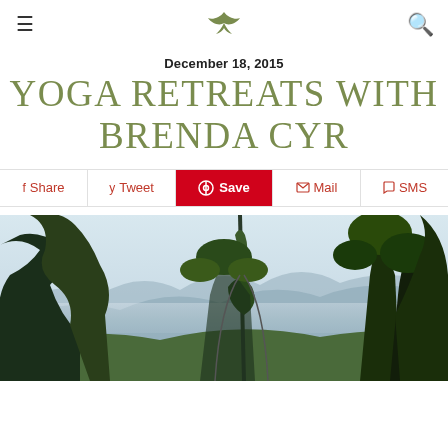Yoga website header with logo, hamburger menu, and search icon
December 18, 2015
YOGA RETREATS WITH BRENDA CYR
[Figure (infographic): Social share bar with Share, Tweet, Save (Pinterest, red background), Mail, and SMS buttons]
[Figure (photo): Outdoor tropical landscape with tall trees, green foliage, and misty mountain valley in background]